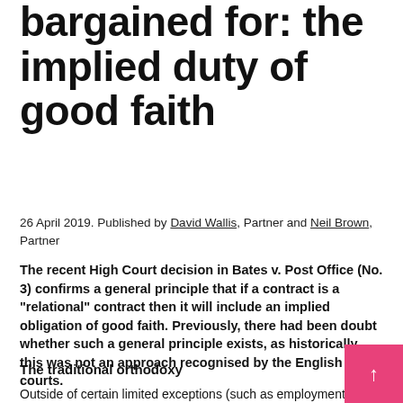bargained for: the implied duty of good faith
26 April 2019. Published by David Wallis, Partner and Neil Brown, Partner
The recent High Court decision in Bates v. Post Office (No. 3) confirms a general principle that if a contract is a "relational" contract then it will include an implied obligation of good faith. Previously, there had been doubt whether such a general principle exists, as historically this was not an approach recognised by the English courts.
The traditional orthodoxy
Outside of certain limited exceptions (such as employment